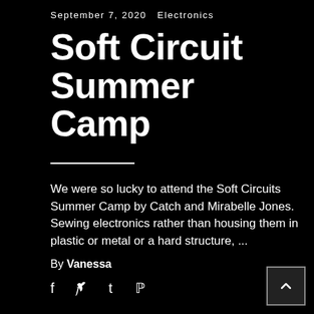September 7, 2020  Electronics
Soft Circuit Summer Camp
We were so lucky to attend the Soft Circuits Summer Camp by Catch and Mirabelle Jones. Sewing electronics rather than housing them in plastic or metal or a hard structure, ...
By Vanessa
[Figure (other): Social media share icons: Facebook (f), Twitter (bird), Tumblr (t), Pinterest (P)]
[Figure (other): Back to top button with caret/arrow pointing up]